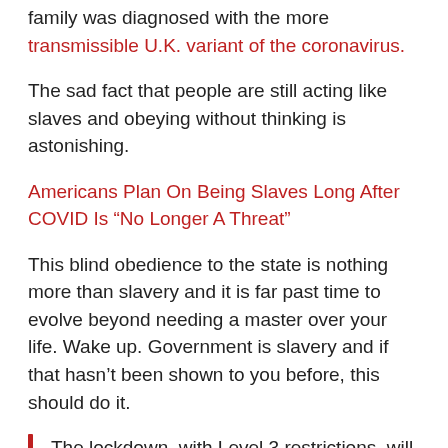family was diagnosed with the more transmissible U.K. variant of the coronavirus.
The sad fact that people are still acting like slaves and obeying without thinking is astonishing.
Americans Plan On Being Slaves Long After COVID Is “No Longer A Threat”
This blind obedience to the state is nothing more than slavery and it is far past time to evolve beyond needing a master over your life. Wake up. Government is slavery and if that hasn’t been shown to you before, this should do it.
The lockdown, with Level 3 restrictions, will allow people to leave home only for essential shopping and essential work. Ardern said.